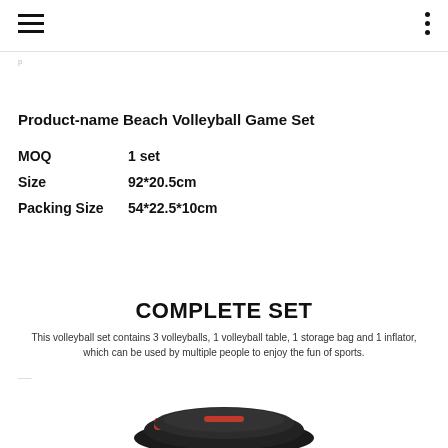Product-name Beach Volleyball Game Set
MOQ    1 set
Size    92*20.5cm
Packing Size    54*22.5*10cm
COMPLETE SET
This volleyball set contains 3 volleyballs, 1 volleyball table, 1 storage bag and 1 inflator, which can be used by multiple people to enjoy the fun of sports.
[Figure (photo): Partial view of a volleyball set product photo at bottom of page]